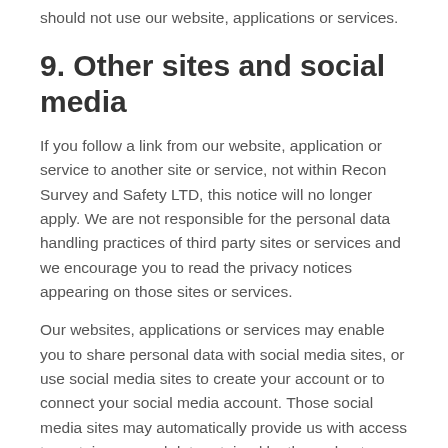should not use our website, applications or services.
9. Other sites and social media
If you follow a link from our website, application or service to another site or service, not within Recon Survey and Safety LTD, this notice will no longer apply. We are not responsible for the personal data handling practices of third party sites or services and we encourage you to read the privacy notices appearing on those sites or services.
Our websites, applications or services may enable you to share personal data with social media sites, or use social media sites to create your account or to connect your social media account. Those social media sites may automatically provide us with access to certain personal data retained by them about you (for example any content you have